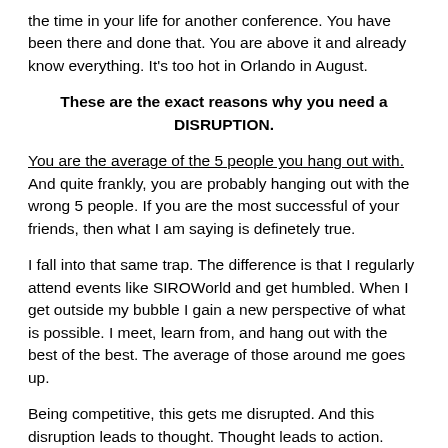the time in your life for another conference. You have been there and done that. You are above it and already know everything. It's too hot in Orlando in August.
These are the exact reasons why you need a DISRUPTION.
You are the average of the 5 people you hang out with. And quite frankly, you are probably hanging out with the wrong 5 people. If you are the most successful of your friends, then what I am saying is definetely true.
I fall into that same trap. The difference is that I regularly attend events like SIROWorld and get humbled. When I get outside my bubble I gain a new perspective of what is possible. I meet, learn from, and hang out with the best of the best. The average of those around me goes up.
Being competitive, this gets me disrupted. And this disruption leads to thought. Thought leads to action. Action leads to